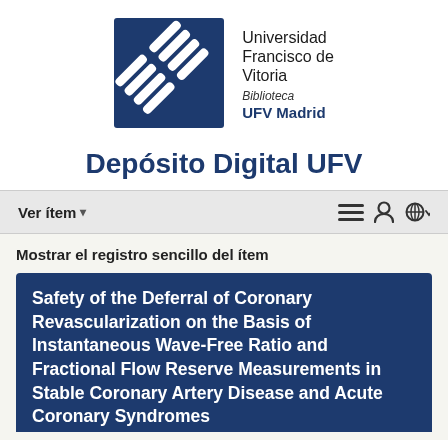[Figure (logo): Universidad Francisco de Vitoria logo with dark blue square containing white diagonal stripe pattern, alongside text: Universidad Francisco de Vitoria, Biblioteca, UFV Madrid]
Depósito Digital UFV
Ver ítem ▾
Mostrar el registro sencillo del ítem
Safety of the Deferral of Coronary Revascularization on the Basis of Instantaneous Wave-Free Ratio and Fractional Flow Reserve Measurements in Stable Coronary Artery Disease and Acute Coronary Syndromes